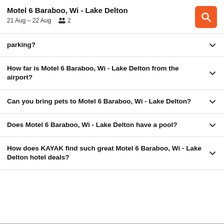Motel 6 Baraboo, Wi - Lake Delton
21 Aug – 22 Aug  2
parking?
How far is Motel 6 Baraboo, Wi - Lake Delton from the airport?
Can you bring pets to Motel 6 Baraboo, Wi - Lake Delton?
Does Motel 6 Baraboo, Wi - Lake Delton have a pool?
How does KAYAK find such great Motel 6 Baraboo, Wi - Lake Delton hotel deals?